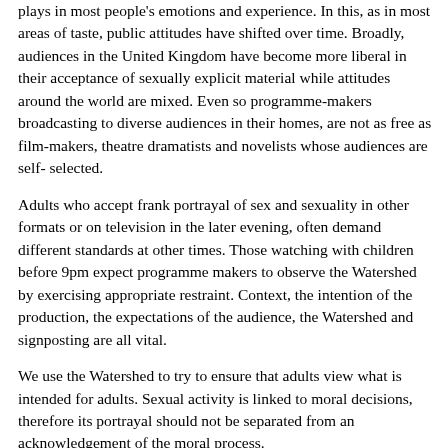plays in most people's emotions and experience. In this, as in most areas of taste, public attitudes have shifted over time. Broadly, audiences in the United Kingdom have become more liberal in their acceptance of sexually explicit material while attitudes around the world are mixed. Even so programme-makers broadcasting to diverse audiences in their homes, are not as free as film-makers, theatre dramatists and novelists whose audiences are self- selected.
Adults who accept frank portrayal of sex and sexuality in other formats or on television in the later evening, often demand different standards at other times. Those watching with children before 9pm expect programme makers to observe the Watershed by exercising appropriate restraint. Context, the intention of the production, the expectations of the audience, the Watershed and signposting are all vital.
We use the Watershed to try to ensure that adults view what is intended for adults. Sexual activity is linked to moral decisions, therefore its portrayal should not be separated from an acknowledgement of the moral process.
Drama and factual programmes have a part to play in illuminating the darker side of human nature. Sometimes themes and images are explored which may shock. The tests to apply are intention, (are we illuminating?), and judgement (does our portrayal demean or